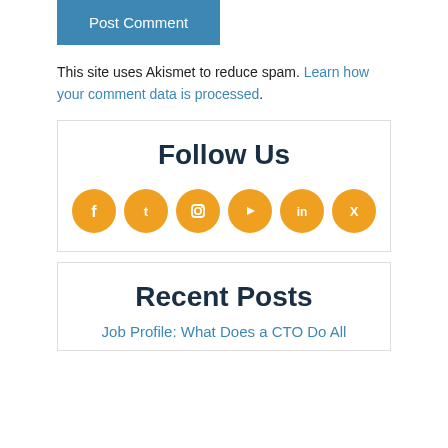Post Comment
This site uses Akismet to reduce spam. Learn how your comment data is processed.
Follow Us
[Figure (other): Social media icons: Facebook, Twitter, Instagram, YouTube, LinkedIn, Xing — orange circular icons]
Recent Posts
Job Profile: What Does a CTO Do All